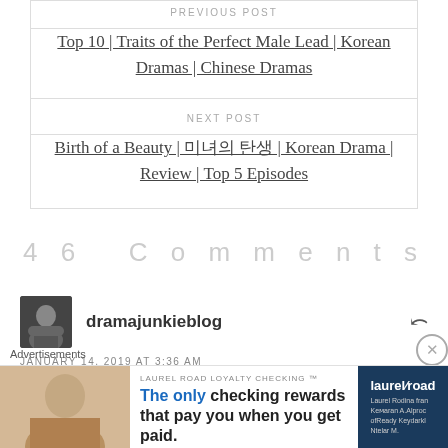PREVIOUS POST
Top 10 | Traits of the Perfect Male Lead | Korean Dramas | Chinese Dramas
NEXT POST
Birth of a Beauty | 미녀의 탄생 | Korean Drama | Review | Top 5 Episodes
46 Comments
dramajunkieblog
JANUARY 14, 2019 AT 3:36 AM
Advertisements
LAUREL ROAD LOYALTY CHECKING™ The only checking rewards that pay you when you get paid.